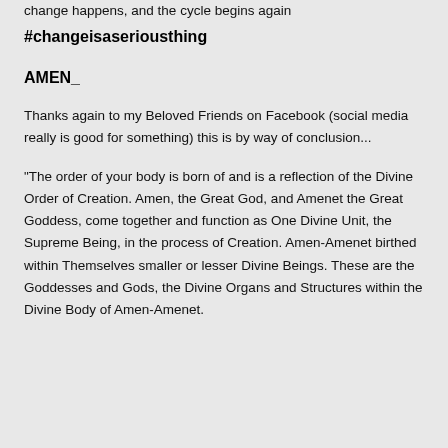change happens, and the cycle begins again
#changeisaseriousthing
AMEN_
Thanks again to my Beloved Friends on Facebook (social media really is good for something) this is by way of conclusion...
“The order of your body is born of and is a reflection of the Divine Order of Creation. Amen, the Great God, and Amenet the Great Goddess, come together and function as One Divine Unit, the Supreme Being, in the process of Creation. Amen-Amenet birthed within Themselves smaller or lesser Divine Beings. These are the Goddesses and Gods, the Divine Organs and Structures within the Divine Body of Amen-Amenet.